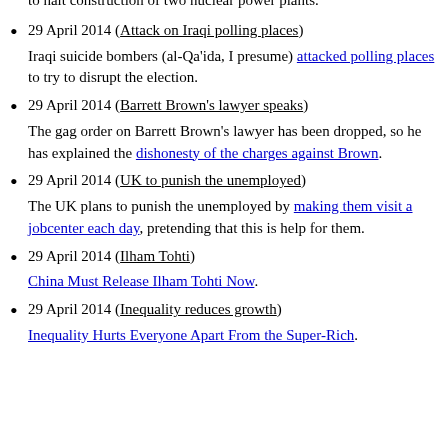to halt construction of two nuclear power plants.
29 April 2014 (Attack on Iraqi polling places)
Iraqi suicide bombers (al-Qa'ida, I presume) attacked polling places to try to disrupt the election.
29 April 2014 (Barrett Brown's lawyer speaks)
The gag order on Barrett Brown's lawyer has been dropped, so he has explained the dishonesty of the charges against Brown.
29 April 2014 (UK to punish the unemployed)
The UK plans to punish the unemployed by making them visit a jobcenter each day, pretending that this is help for them.
29 April 2014 (Ilham Tohti)
China Must Release Ilham Tohti Now.
29 April 2014 (Inequality reduces growth)
Inequality Hurts Everyone Apart From the Super-Rich.